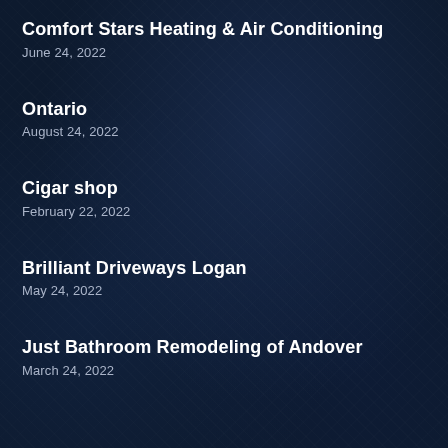Comfort Stars Heating & Air Conditioning
June 24, 2022
Ontario
August 24, 2022
Cigar shop
February 22, 2022
Brilliant Driveways Logan
May 24, 2022
Just Bathroom Remodeling of Andover
March 24, 2022